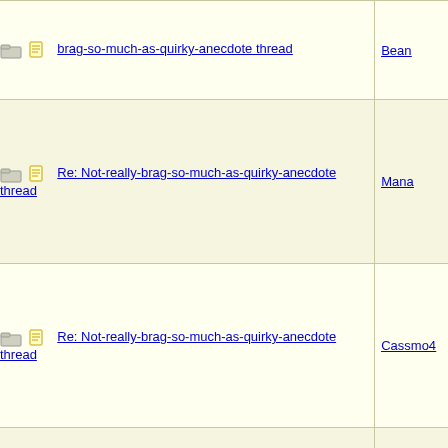| Subject | Author |
| --- | --- |
| Re: Not-really-brag-so-much-as-quirky-anecdote thread | Bean |
| Re: Not-really-brag-so-much-as-quirky-anecdote thread | Mana |
| Re: Not-really-brag-so-much-as-quirky-anecdote thread | Cassmo4 |
| Re: Not-really-brag-so-much-as-quirky-anecdote thread | aeh |
| Re: Not-really-brag-so-much-as-quirky-anecdote thread | HowlerKa |
| Re: Not-really-brag-so-much-as-quirky-anecdote thread | Michaela |
| Re: Not-really-brag-so-much-as-quirky-anecdote thread | MegMeg |